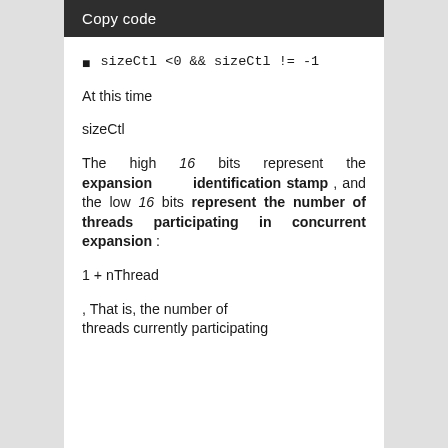Copy code
sizeCtl <0 && sizeCtl != -1
At this time
sizeCtl
The high 16 bits represent the expansion identification stamp , and the low 16 bits represent the number of threads participating in concurrent expansion :
1 + nThread
, That is, the number of threads currently participating